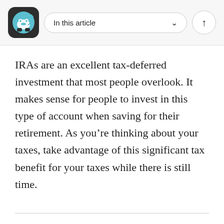In this article
IRAs are an excellent tax-deferred investment that most people overlook. It makes sense for people to invest in this type of account when saving for their retirement. As you’re thinking about your taxes, take advantage of this significant tax benefit for your taxes while there is still time.
About the Author